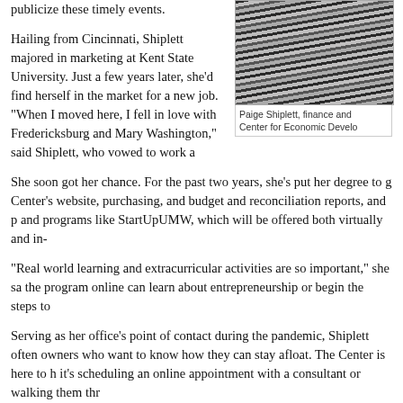publicize these timely events.
[Figure (photo): Portrait photo of Paige Shiplett, a woman in a striped top, partially cropped on the right side of the page.]
Paige Shiplett, finance and Center for Economic Develo...
Hailing from Cincinnati, Shiplett majored in marketing at Kent State University. Just a few years later, she'd find herself in the market for a new job. “When I moved here, I fell in love with Fredericksburg and Mary Washington,” said Shiplett, who vowed to work a
She soon got her chance. For the past two years, she’s put her degree to g Center’s website, purchasing, and budget and reconciliation reports, and p and programs like StartUpUMW, which will be offered both virtually and in-
“Real world learning and extracurricular activities are so important,” she sa the program online can learn about entrepreneurship or begin the steps to
Serving as her office’s point of contact during the pandemic, Shiplett often owners who want to know how they can stay afloat. The Center is here to h it’s scheduling an online appointment with a consultant or walking them thr
In other words, she said, in these unusual times, it’s still business as usual
Q: What’s a typical day like for you working at home?
A: I often got calls from small business owners sharing their hardships an